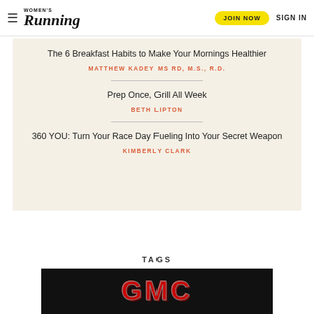Women's Running — JOIN NOW   SIGN IN
The 6 Breakfast Habits to Make Your Mornings Healthier
MATTHEW KADEY MS RD, M.S., R.D.
Prep Once, Grill All Week
BETH LIPTON
360 YOU: Turn Your Race Day Fueling Into Your Secret Weapon
KIMBERLY CLARK
TAGS
[Figure (photo): GMC advertisement banner with red GMC logo on black background]